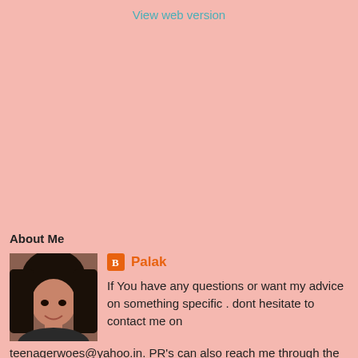View web version
About Me
[Figure (photo): Profile photo of a young woman with dark hair, smiling]
Palak
If You have any questions or want my advice on something specific . dont hesitate to contact me on teenagerwoes@yahoo.in. PR's can also reach me through the above mentioned ID
View my complete profile